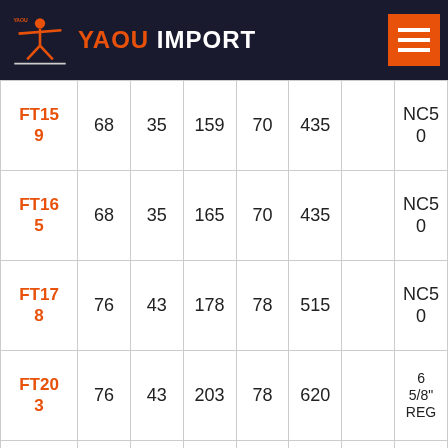YAOU IMPORT
| FT159 | 68 | 35 | 159 | 70 | 435 |  | NC50 |
| FT165 | 68 | 35 | 165 | 70 | 435 |  | NC50 |
| FT178 | 76 | 43 | 178 | 78 | 515 |  | NC50 |
| FT203 | 76 | 43 | 203 | 78 | 620 |  | 6 5/8" REG |
| FT229 | 76 | 43 | 229 | 78 | 620 |  | 7 5/8" |